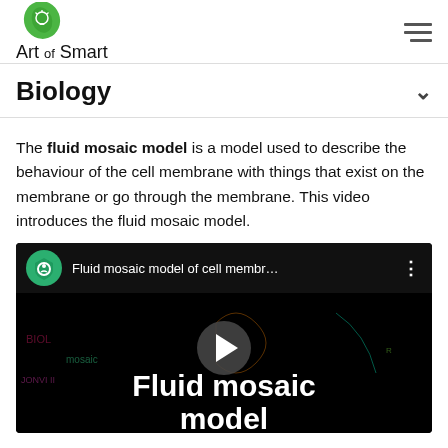Art of Smart
Biology
The fluid mosaic model is a model used to describe the behaviour of the cell membrane with things that exist on the membrane or go through the membrane. This video introduces the fluid mosaic model.
[Figure (screenshot): YouTube video thumbnail showing 'Fluid mosaic model of cell membr...' with a dark background and white bold text reading 'Fluid mosaic model' with a play button overlay and neon-style biology imagery in the background.]